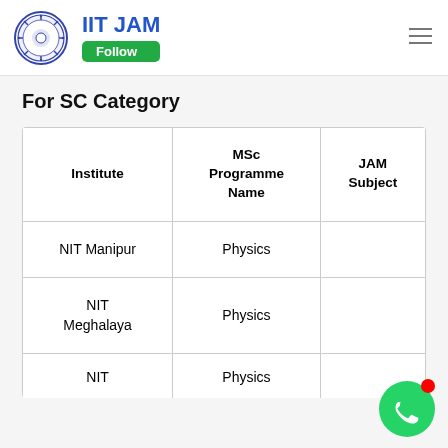IIT JAM Follow
For SC Category
| Institute | MSc Programme Name | JAM Subject |
| --- | --- | --- |
| NIT Manipur | Physics |  |
| NIT Meghalaya | Physics |  |
| NIT | Physics |  |